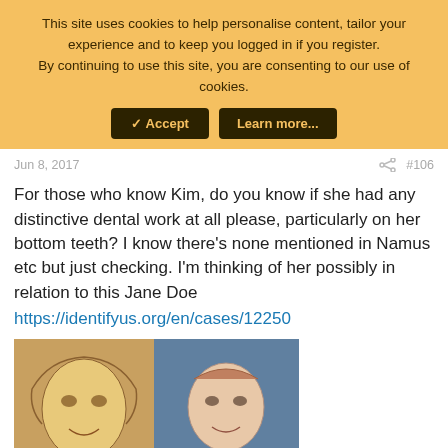This site uses cookies to help personalise content, tailor your experience and to keep you logged in if you register.
By continuing to use this site, you are consenting to our use of cookies.
✓ Accept   Learn more...
Jun 8, 2017
#106
For those who know Kim, do you know if she had any distinctive dental work at all please, particularly on her bottom teeth? I know there's none mentioned in Namus etc but just checking. I'm thinking of her possibly in relation to this Jane Doe
https://identifyus.org/en/cases/12250
[Figure (photo): Two side-by-side portrait photos: a facial reconstruction sketch of a woman on the left, and a photo of a woman with short hair on the right.]